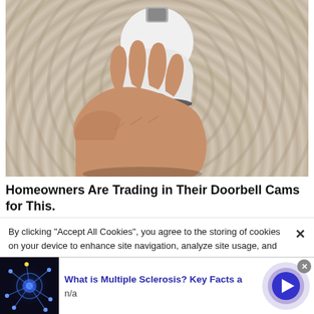[Figure (photo): A hand holding a white dome-shaped security camera bulb against a woven circular basket background. The camera has a dark lens visible at the bottom of the bulb.]
Homeowners Are Trading in Their Doorbell Cams for This.
By clicking “Accept All Cookies”, you agree to the storing of cookies on your device to enhance site navigation, analyze site usage, and assist in our marketing efforts.
[Figure (photo): Advertisement banner showing a glowing blue neuron illustration with text: What is Multiple Sclerosis? Key Facts a | n/a]